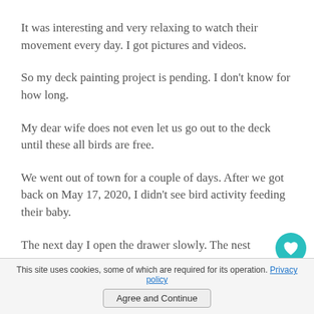It was interesting and very relaxing to watch their movement every day. I got pictures and videos.
So my deck painting project is pending. I don't know for how long.
My dear wife does not even let us go out to the deck until these all birds are free.
We went out of town for a couple of days. After we got back on May 17, 2020, I didn't see bird activity feeding their baby.
The next day I open the drawer slowly. The nest
This site uses cookies, some of which are required for its operation. Privacy policy  Agree and Continue